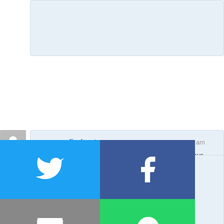[Figure (screenshot): Partial comment block visible at top of page]
you can find out more — August 23, 2022 at 4:53 am
Hello! I just want to give you a big thumbs up for your great info you have here on this post. I am coming back to your website for more soon.
free download mp3 — August 23, 2022 at 7:13 am
...great site. I need to ...preciated every part ...tion in your web site
[Figure (infographic): Social share buttons: Twitter (blue), Facebook (dark blue), Email (gray), WhatsApp (green), SMS (blue), ShareThis (green)]